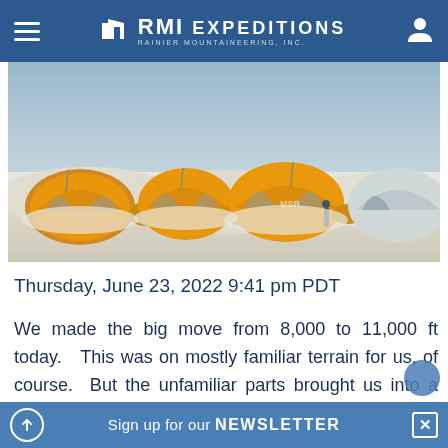RMI EXPEDITIONS — RAINIER MOUNTAINEERING, INC.
[Figure (photo): Row of orange and grey dome tents partially buried in snow on a mountain glacier, against a grey-white winter sky.]
Thursday, June 23, 2022 9:41 pm PDT
We made the big move from 8,000 to 11,000 ft today.   This was on mostly familiar terrain for us, of course.  But the unfamiliar parts brought us into a whole new world.  We set out at 5:30 AM from the base of Ski Hill in perfect conditions for mountain climbing.  It was cool, shady and calm and the
Sign up for our NEWSLETTER